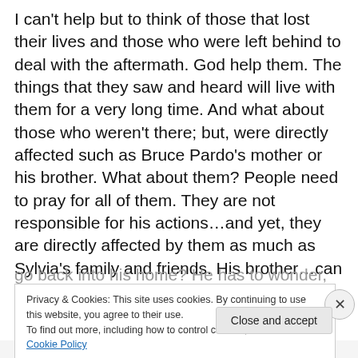I can't help but to think of those that lost their lives and those who were left behind to deal with the aftermath. God help them. The things that they saw and heard will live with them for a very long time. And what about those who weren't there; but, were directly affected such as Bruce Pardo's mother or his brother. What about them? People need to pray for all of them. They are not responsible for his actions…and yet, they are directly affected by them as much as Sylvia's family and friends. His brother…can you imagine…how will he ever be able to go back into his home? He has to wonder, why did his
Privacy & Cookies: This site uses cookies. By continuing to use this website, you agree to their use.
To find out more, including how to control cookies, see here: Cookie Policy
Close and accept